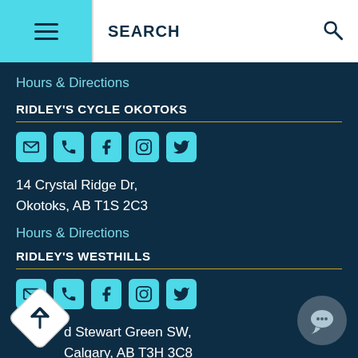SEARCH
Hours & Directions
RIDLEY'S CYCLE OKOTOKS
[Figure (other): Row of social media icons: email, phone, Facebook, Instagram, Twitter]
14 Crystal Ridge Dr,
Okotoks, AB T1S 2C3
Hours & Directions
RIDLEY'S WESTHILLS
[Figure (other): Row of social media icons: email, phone, Facebook, Instagram, Twitter]
d Stewart Green SW,
Calgary, AB T3H 3C8